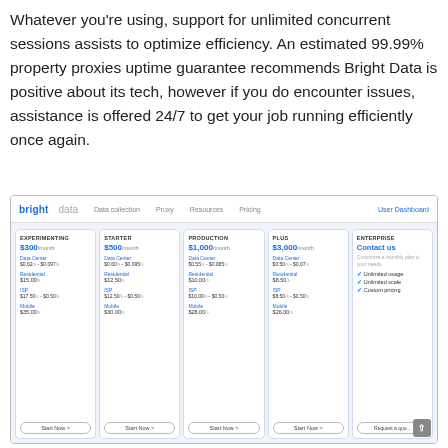Whatever you're using, support for unlimited concurrent sessions assists to optimize efficiency. An estimated 99.99% property proxies uptime guarantee recommends Bright Data is positive about its tech, however if you do encounter issues, assistance is offered 24/7 to get your job running efficiently once again.
[Figure (screenshot): Screenshot of Bright Data pricing page showing five plan tiers: Experimenting ($300/month), Starter ($500/month), Production ($1,000/month), Plus ($3,000/month), and Enterprise (Contact us). Each plan lists Data Center, Residential, ISP, and Mobile pricing. Navigation bar shows Data collection, Proxy, Resources, Pricing, and User Dashboard links.]